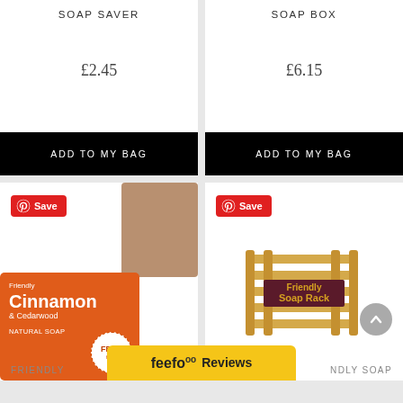SOAP SAVER
SOAP BOX
£2.45
£6.15
ADD TO MY BAG
ADD TO MY BAG
[Figure (photo): Cinnamon & Cedarwood Natural Soap box by Friendly Soap, orange packaging with a brown soap bar behind it, and a FREE badge]
[Figure (photo): Friendly Soap Rack made of bamboo, a wooden slatted soap dish]
FRIENDLY
NDLY SOAP
[Figure (logo): Feefo Reviews yellow badge with logo]